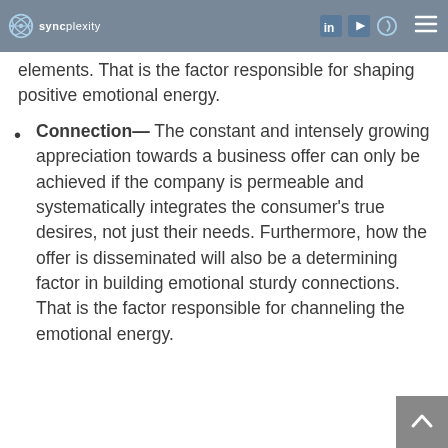syncplexity [logo with navigation icons and hamburger menu]
elements. That is the factor responsible for shaping positive emotional energy.
Connection— The constant and intensely growing appreciation towards a business offer can only be achieved if the company is permeable and systematically integrates the consumer's true desires, not just their needs. Furthermore, how the offer is disseminated will also be a determining factor in building emotional sturdy connections. That is the factor responsible for channeling the emotional energy.